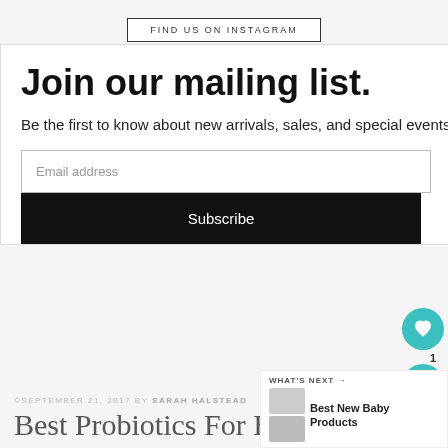FIND US ON INSTAGRAM
Join our mailing list.
Be the first to know about new arrivals, sales, and special events.
Email address
Subscribe
© SEPTEMBER 21, 2017 BY SARAH HALSTEAD
Best Probiotics For Baby